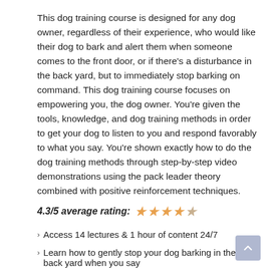This dog training course is designed for any dog owner, regardless of their experience, who would like their dog to bark and alert them when someone comes to the front door, or if there's a disturbance in the back yard, but to immediately stop barking on command. This dog training course focuses on empowering you, the dog owner. You're given the tools, knowledge, and dog training methods in order to get your dog to listen to you and respond favorably to what you say. You're shown exactly how to do the dog training methods through step-by-step video demonstrations using the pack leader theory combined with positive reinforcement techniques.
4.3/5 average rating: ★ ★ ★ ★ ☆
Access 14 lectures & 1 hour of content 24/7
Learn how to gently stop your dog barking in the back yard when you say